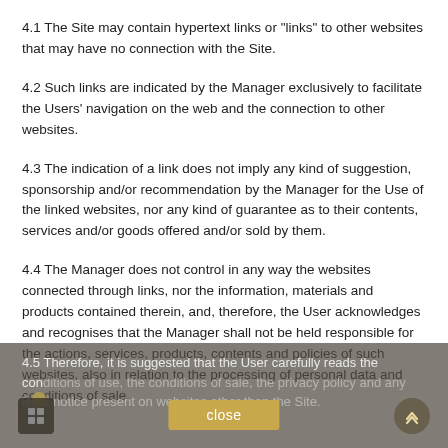4.1 The Site may contain hypertext links or 'links' to other websites that may have no connection with the Site.
4.2 Such links are indicated by the Manager exclusively to facilitate the Users' navigation on the web and the connection to other websites.
4.3 The indication of a link does not imply any kind of suggestion, sponsorship and/or recommendation by the Manager for the Use of the linked websites, nor any kind of guarantee as to their contents, services and/or goods offered and/or sold by them.
4.4 The Manager does not control in any way the websites connected through links, nor the information, materials and products contained therein, and, therefore, the User acknowledges and recognises that the Manager shall not be held responsible for the actions, services, products, contents and policies of such websites, also in relation to the processing of personal data and conditions of sale.
4.5 Therefore, it is suggested that the User carefully reads the conditions of use, the conditions of sale, the privacy policy and any legal notice present on websites other than the Site.